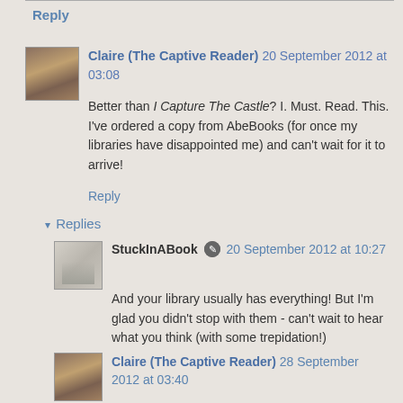Reply
Claire (The Captive Reader) 20 September 2012 at 03:08
Better than I Capture The Castle? I. Must. Read. This. I've ordered a copy from AbeBooks (for once my libraries have disappointed me) and can't wait for it to arrive!
Reply
▾ Replies
StuckInABook 20 September 2012 at 10:27
And your library usually has everything! But I'm glad you didn't stop with them - can't wait to hear what you think (with some trepidation!)
Claire (The Captive Reader) 28 September 2012 at 03:40